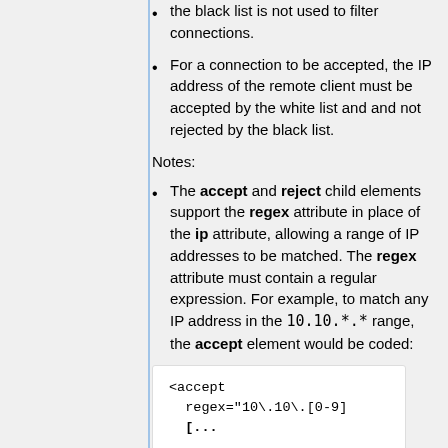the black list is not used to filter connections.
For a connection to be accepted, the IP address of the remote client must be accepted by the white list and and not rejected by the black list.
Notes:
The accept and reject child elements support the regex attribute in place of the ip attribute, allowing a range of IP addresses to be matched. The regex attribute must contain a regular expression. For example, to match any IP address in the 10.10.*.* range, the accept element would be coded:
<accept
  regex="10\.10\.[0-9]